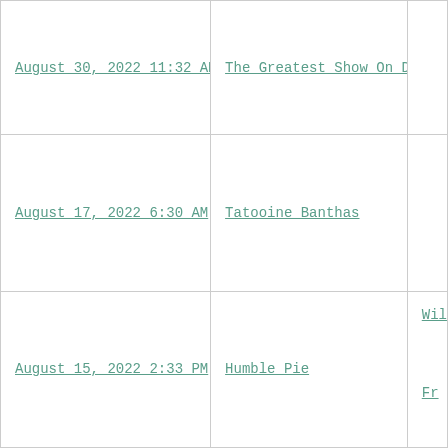| August 30, 2022 11:32 AM | The Greatest Show On Dirt |  |
| August 17, 2022 6:30 AM | Tatooine Banthas |  |
| August 15, 2022 2:33 PM | Humble Pie | Wil...
Fr... |